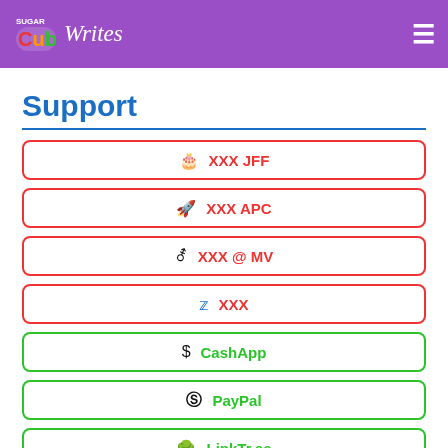SugarCub Writes — navigation header
Support
XXX JFF
XXX APC
XXX @ MV
XXX
CashApp
PayPal
LinkTr.ee
Ko-Fi